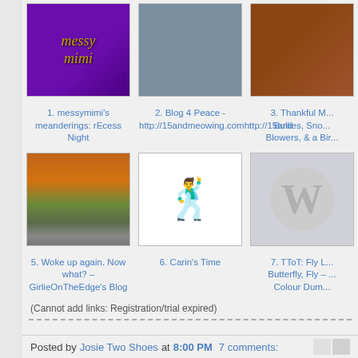[Figure (photo): Messy Mimi blog thumbnail - purple background with gold decorative text]
[Figure (photo): Blog 4 Peace thumbnail - crafts/art supplies on table]
[Figure (photo): Thankful thumbnail - natural/outdoor image]
1. messymimi's meanderings: rEcess Night
2. Blog 4 Peace - http://15andmeowing.comhttp://15and
3. Thankful M... Bullies, Sno... Blowers, & a Bir...
[Figure (photo): Autumn tree with orange/red leaves in parking lot]
[Figure (illustration): Animated dancing woman in blue outfit with music notes and alarm clock]
[Figure (logo): WordPress logo - W on grey circle background]
5. Woke up again. Now what? – GirlieOnTheEdge's Blog
6. Carin's Time
7. TToT: Fly L... Butterfly, Fly – ... Colour Dum...
(Cannot add links: Registration/trial expired)
Posted by Josie Two Shoes at 8:00 PM   7 comments: